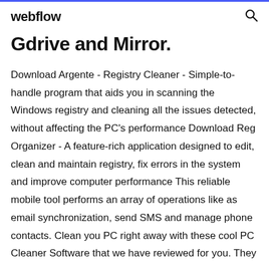webflow
Gdrive and Mirror.
Download Argente - Registry Cleaner - Simple-to-handle program that aids you in scanning the Windows registry and cleaning all the issues detected, without affecting the PC's performance Download Reg Organizer - A feature-rich application designed to edit, clean and maintain registry, fix errors in the system and improve computer performance This reliable mobile tool performs an array of operations like as email synchronization, send SMS and manage phone contacts. Clean you PC right away with these cool PC Cleaner Software that we have reviewed for you. They